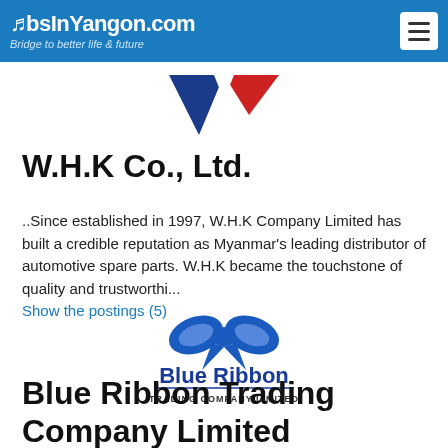JobsInYangon.com – Bridge to better life & future
[Figure (logo): W.H.K Co., Ltd. logo – blue and red V-shaped arrow design]
W.H.K Co., Ltd.
..Since established in 1997, W.H.K Company Limited has built a credible reputation as Myanmar's leading distributor of automotive spare parts. W.H.K became the touchstone of quality and trustworthi...
Show the postings (5)
[Figure (logo): Blue Ribbon Trading Company Limited logo – blue bow/ribbon icon above 'Blue Ribbon' text in blue and 'TRADING COMPANY LIMITED' in smaller text]
Blue Ribbon Trading Company Limited